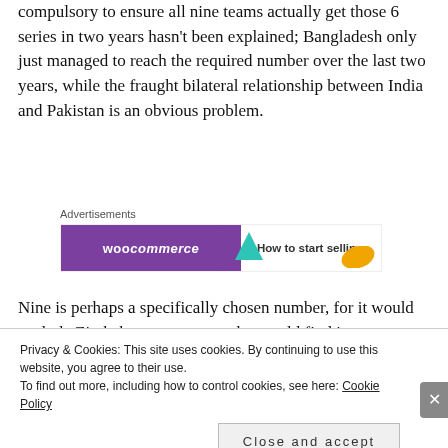compulsory to ensure all nine teams actually get those 6 series in two years hasn't been explained; Bangladesh only just managed to reach the required number over the last two years, while the fraught bilateral relationship between India and Pakistan is an obvious problem.
[Figure (other): Advertisement banner with WooCommerce purple background and 'How to start selling' text with teal arrow and orange leaf shape]
Nine is perhaps a specifically chosen number, for it would exclude Zimbabwe, a country who would find it
Privacy & Cookies: This site uses cookies. By continuing to use this website, you agree to their use. To find out more, including how to control cookies, see here: Cookie Policy
Close and accept